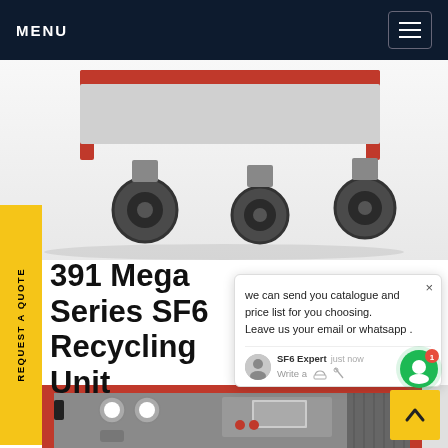MENU
[Figure (photo): Top portion of a red SF6 gas recycling unit on wheels/casters, showing the cart frame with industrial caster wheels]
REQUEST A QUOTE
391 Mega Series SF6 Recycling Unit
we can send you catalogue and price list for you choosing. Leave us your email or whatsapp .
SF6 Expert   just now
Write a
[Figure (photo): Bottom portion of a red-framed SF6 gas recycling unit showing control panel with gauges, display screen, and ventilation grilles on the side]